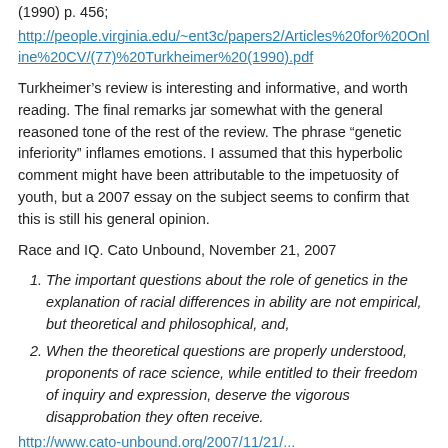(1990) p. 456;
http://people.virginia.edu/~ent3c/papers2/Articles%20for%20Online%20CV/(77)%20Turkheimer%20(1990).pdf
Turkheimer’s review is interesting and informative, and worth reading. The final remarks jar somewhat with the general reasoned tone of the rest of the review. The phrase “genetic inferiority” inflames emotions. I assumed that this hyperbolic comment might have been attributable to the impetuosity of youth, but a 2007 essay on the subject seems to confirm that this is still his general opinion.
Race and IQ. Cato Unbound, November 21, 2007
The important questions about the role of genetics in the explanation of racial differences in ability are not empirical, but theoretical and philosophical, and,
When the theoretical questions are properly understood, proponents of race science, while entitled to their freedom of inquiry and expression, deserve the vigorous disapprobation they often receive.
http://www.cato-unbound.org/2007/11/21/...